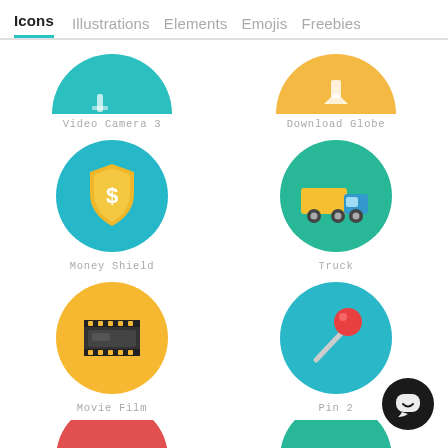Icons  Illustrations  Elements  Emojis  Freebies
[Figure (illustration): Teal circle icon partially visible at top - Video Camera 3]
Video Camera 3
[Figure (illustration): Yellow/orange circle icon partially visible at top - Download Globe]
Download Globe
[Figure (illustration): Blue circle with gold money shield icon - Money Shield]
Money Shield
[Figure (illustration): Teal/green circle with yellow truck icon - Truck]
Truck
[Figure (illustration): Yellow/orange circle with movie film reel icon - Movie Film]
Movie Film
[Figure (illustration): Teal circle with red pin/thumbtack icon - Pin 2]
Pin 2
[Figure (illustration): Red/coral circle partially visible at bottom left]
[Figure (illustration): Teal circle partially visible at bottom right]
[Figure (illustration): Black circular chat button with smiley face in bottom right corner]